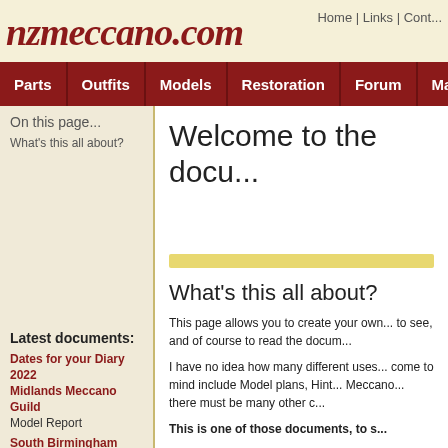nzmeccano.com | Home | Links | Cont...
Parts | Outfits | Models | Restoration | Forum | Magazi...
On this page...
What's this all about?
Welcome to the docu...
What's this all about?
This page allows you to create your own... to see, and of course to read the docum...
I have no idea how many different uses... come to mind include Model plans, Hint... Meccano... there must be many other c...
This is one of those documents, to s...
Anyone can read the documents that ar... document or edit one you've already wr... control to stop the site being abused by... might get us into trouble for whatever re... "Meccano Wanted" or "Gallery" section...
Latest documents:
Dates for your Diary 2022
Midlands Meccano Guild
Model Report
South Birmingham Meccan...
97th Meeting